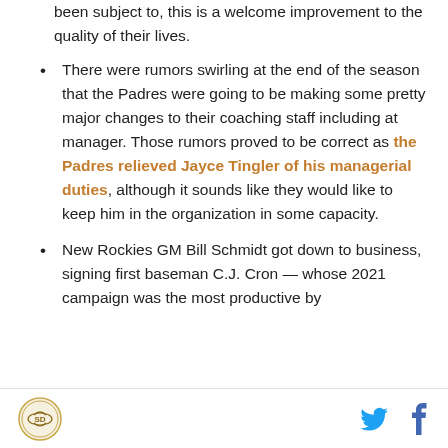been subject to, this is a welcome improvement to the quality of their lives.
There were rumors swirling at the end of the season that the Padres were going to be making some pretty major changes to their coaching staff including at manager. Those rumors proved to be correct as the Padres relieved Jayce Tingler of his managerial duties, although it sounds like they would like to keep him in the organization in some capacity.
New Rockies GM Bill Schmidt got down to business, signing first baseman C.J. Cron — whose 2021 campaign was the most productive by